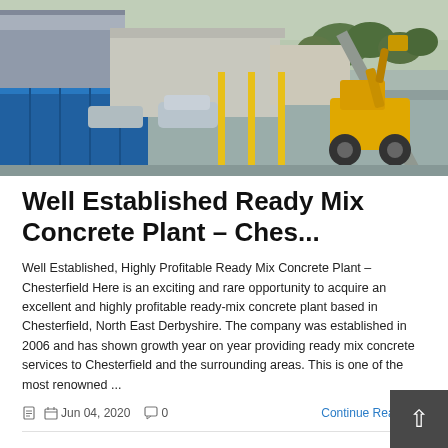[Figure (photo): Aerial/ground-level view of a ready mix concrete plant yard in Chesterfield. Shows industrial buildings on the left, a large blue shipping container, yellow safety posts in the middle, parked cars, and a yellow excavator/loader on the right with a conveyor belt structure.]
Well Established Ready Mix Concrete Plant – Ches...
Well Established, Highly Profitable Ready Mix Concrete Plant – Chesterfield Here is an exciting and rare opportunity to acquire an excellent and highly profitable ready-mix concrete plant based in Chesterfield, North East Derbyshire. The company was established in 2006 and has shown growth year on year providing ready mix concrete services to Chesterfield and the surrounding areas. This is one of the most renowned ...
Jun 04, 2020  0  Continue Reading ›